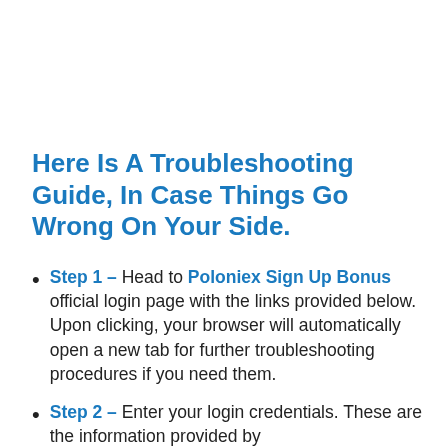Here Is A Troubleshooting Guide, In Case Things Go Wrong On Your Side.
Step 1 – Head to Poloniex Sign Up Bonus official login page with the links provided below. Upon clicking, your browser will automatically open a new tab for further troubleshooting procedures if you need them.
Step 2 – Enter your login credentials. These are the information provided by